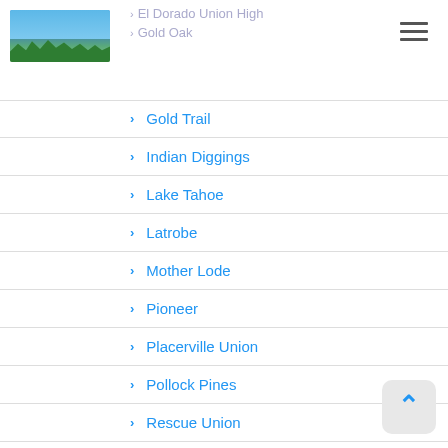El Dorado Union High | Gold Oak
Gold Trail
Indian Diggings
Lake Tahoe
Latrobe
Mother Lode
Pioneer
Placerville Union
Pollock Pines
Rescue Union
Silver Fork
Step 2: Send in a Claim Form to the Appropriate School District, Addressed to the Superintendent
Step 3: File a Legal Claim – Please contact us 1bcc@comcast.net Bernard Carlson
Forms (Required)